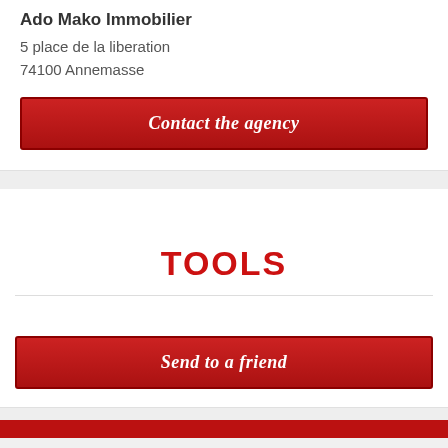Ado Mako Immobilier
5 place de la liberation
74100 Annemasse
Contact the agency
TOOLS
Send to a friend